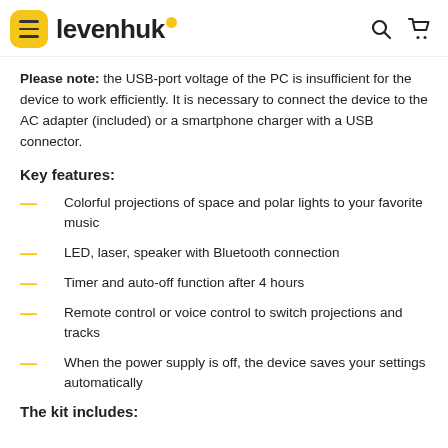levenhuk
Please note: the USB-port voltage of the PC is insufficient for the device to work efficiently. It is necessary to connect the device to the AC adapter (included) or a smartphone charger with a USB connector.
Key features:
Colorful projections of space and polar lights to your favorite music
LED, laser, speaker with Bluetooth connection
Timer and auto-off function after 4 hours
Remote control or voice control to switch projections and tracks
When the power supply is off, the device saves your settings automatically
The kit includes: